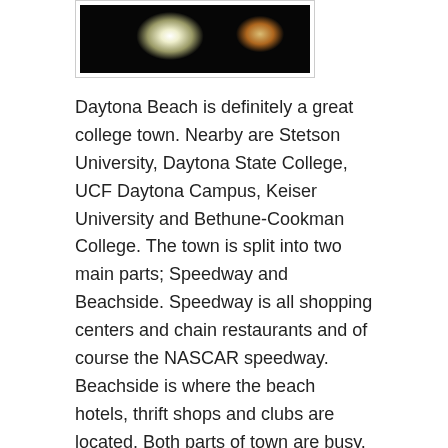[Figure (photo): Nighttime photo showing bright headlights or lights, dark background with some orange/warm colored lights on the right side]
Daytona Beach is definitely a great college town. Nearby are Stetson University, Daytona State College, UCF Daytona Campus, Keiser University and Bethune-Cookman College. The town is split into two main parts; Speedway and Beachside. Speedway is all shopping centers and chain restaurants and of course the NASCAR speedway. Beachside is where the beach hotels, thrift shops and clubs are located. Both parts of town are busy, however the beach is definitely the place to go on the weekends.
I'm glad I've finally made it to college. I'm still wondering whether or not I want to continue with my Aeronautical Science Major. It all depends on how my first semester here goes. I'd also like to mention that everybody is different with managing their time, regardless you learn